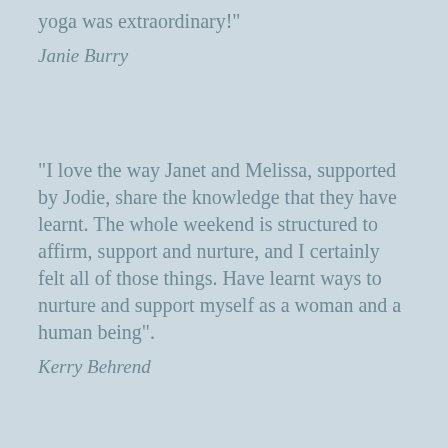yoga was extraordinary!"
Janie Burry
"I love the way Janet and Melissa, supported by Jodie, share the knowledge that they have learnt. The whole weekend is structured to affirm, support and nurture, and I certainly felt all of those things. Have learnt ways to nurture and support myself as a woman and a human being".
Kerry Behrend